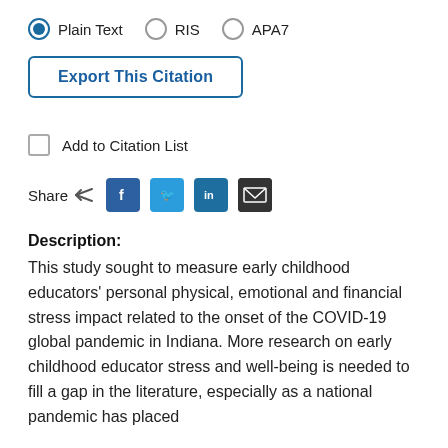Plain Text (selected), RIS, APA7
Export This Citation
Add to Citation List
Share
Description:
This study sought to measure early childhood educators' personal physical, emotional and financial stress impact related to the onset of the COVID-19 global pandemic in Indiana. More research on early childhood educator stress and well-being is needed to fill a gap in the literature, especially as a national pandemic has placed considerable stress for many across the